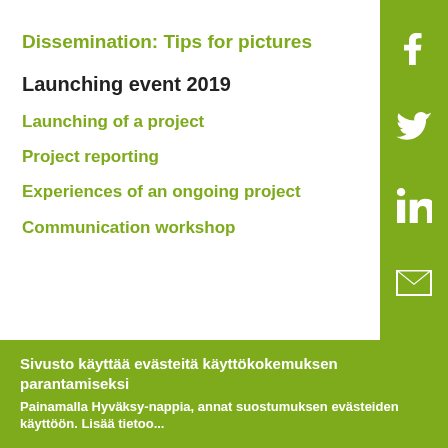Dissemination: Tips for pictures
Launching event 2019
Launching of a project
Project reporting
Experiences of an ongoing project
Communication workshop
Sivusto käyttää evästeitä käyttökokemuksen parantamiseksi
Painamalla Hyväksy-nappia, annat suostumuksen evästeiden käyttöön. Lisää tietoo...